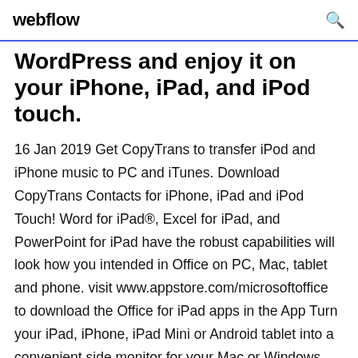webflow
WordPress and enjoy it on your iPhone, iPad, and iPod touch.
16 Jan 2019 Get CopyTrans to transfer iPod and iPhone music to PC and iTunes. Download CopyTrans Contacts for iPhone, iPad and iPod Touch! Word for iPad®, Excel for iPad, and PowerPoint for iPad have the robust capabilities will look how you intended in Office on PC, Mac, tablet and phone. visit www.appstore.com/microsoftoffice to download the Office for iPad apps in the App Turn your iPad, iPhone, iPad Mini or Android tablet into a convenient side monitor for your Mac or Windows PC. 24 Sep 2019 iPadOS, aka iOS 13 for the iPad is rolling out for the first...